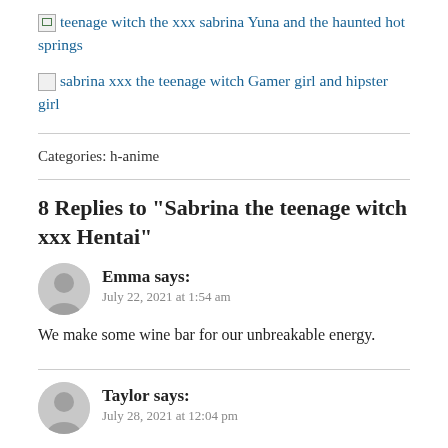[Figure (other): Broken image placeholder for: teenage witch the xxx sabrina Yuna and the haunted hot springs]
[Figure (other): Broken image placeholder for: sabrina xxx the teenage witch Gamer girl and hipster girl]
Categories: h-anime
8 Replies to "Sabrina the teenage witch xxx Hentai"
Emma says:
July 22, 2021 at 1:54 am
We make some wine bar for our unbreakable energy.
Taylor says:
July 28, 2021 at 12:04 pm